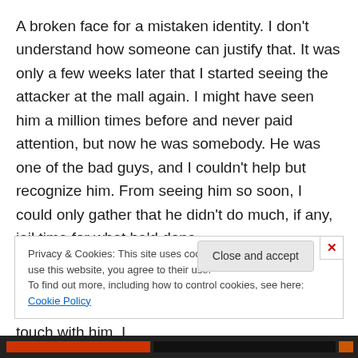A broken face for a mistaken identity. I don't understand how someone can justify that. It was only a few weeks later that I started seeing the attacker at the mall again. I might have seen him a million times before and never paid attention, but now he was somebody. He was one of the bad guys, and I couldn't help but recognize him. From seeing him so soon, I could only gather that he didn't do much, if any, jail time for what he'd done.
My friend didn't want to talk about it, and I can't blame him for that. He moved away, and I lost touch with him. I
Privacy & Cookies: This site uses cookies. By continuing to use this website, you agree to their use.
To find out more, including how to control cookies, see here: Cookie Policy
Close and accept